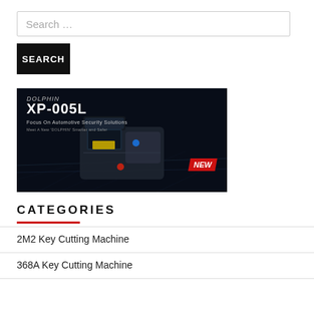Search …
SEARCH
[Figure (photo): Dolphin XP-005L key cutting machine product banner on dark background with circuit board pattern. Text reads: DOLPHIN XP-005L, Focus On Automotive Security Solutions, Meet A New 'DOLPHIN' Smarter and Safer. Red NEW badge in corner.]
CATEGORIES
2M2 Key Cutting Machine
368A Key Cutting Machine